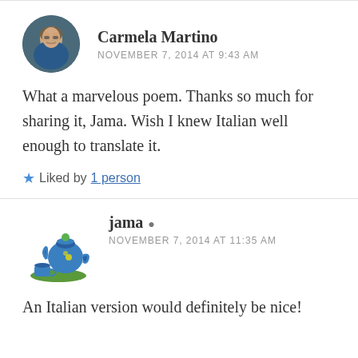[Figure (photo): Circular avatar photo of Carmela Martino, a woman with short gray hair and glasses]
Carmela Martino
NOVEMBER 7, 2014 AT 9:43 AM
What a marvelous poem. Thanks so much for sharing it, Jama. Wish I knew Italian well enough to translate it.
★ Liked by 1 person
[Figure (illustration): Cartoon illustration of a blue teapot with a small blue teacup on a green surface — avatar for jama]
jama
NOVEMBER 7, 2014 AT 11:35 AM
An Italian version would definitely be nice!